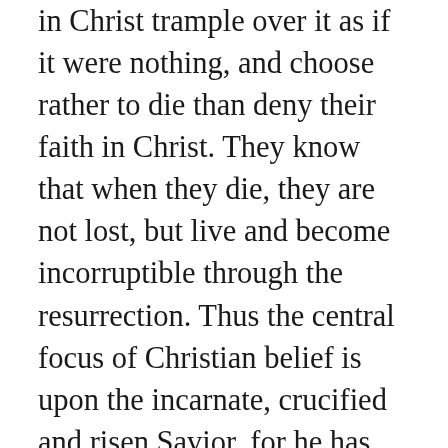in Christ trample over it as if it were nothing, and choose rather to die than deny their faith in Christ. They know that when they die, they are not lost, but live and become incorruptible through the resurrection. Thus the central focus of Christian belief is upon the incarnate, crucified and risen Savior, for he has burst the bands of death and brought life and immortality to light - that is the forgiveness of sins and resurrection of the dead into which we are once for all baptized by the Holy Spirit. Far from being just a promise for the future, it is an